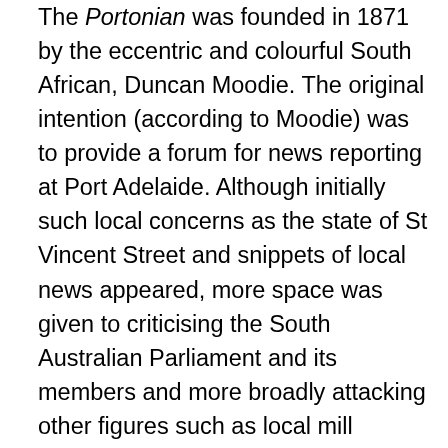The Portonian was founded in 1871 by the eccentric and colourful South African, Duncan Moodie. The original intention (according to Moodie) was to provide a forum for news reporting at Port Adelaide. Although initially such local concerns as the state of St Vincent Street and snippets of local news appeared, more space was given to criticising the South Australian Parliament and its members and more broadly attacking other figures such as local mill owner, Captain John Hart, religious leaders and even the governor. Moodie had previously worked for the Customs Department at Port Adelaide and consequently also made a particular focus of the apparent problems of this body. South African news filled the Portonian columns as time went on, and in particular news of the Anglo-Zulu War of 1879. Portonian ceased without notice in May 1879.